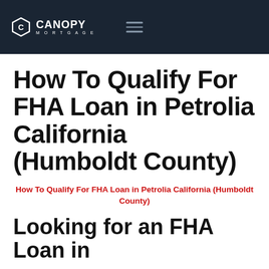[Figure (logo): Canopy Mortgage logo with hexagon icon and wordmark on dark navy navigation bar]
How To Qualify For FHA Loan in Petrolia California (Humboldt County)
How To Qualify For FHA Loan in Petrolia California (Humboldt County)
Looking for an FHA Loan in